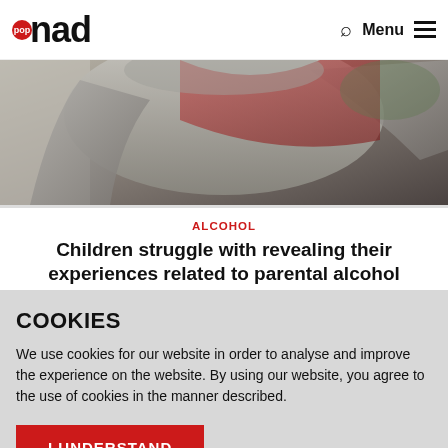pop nad — Menu
[Figure (photo): Close-up photo of a person wearing a grey hoodie, partial view of torso and arms]
ALCOHOL
Children struggle with revealing their experiences related to parental alcohol misuse
COOKIES
We use cookies for our website in order to analyse and improve the experience on the website. By using our website, you agree to the use of cookies in the manner described.
I UNDERSTAND